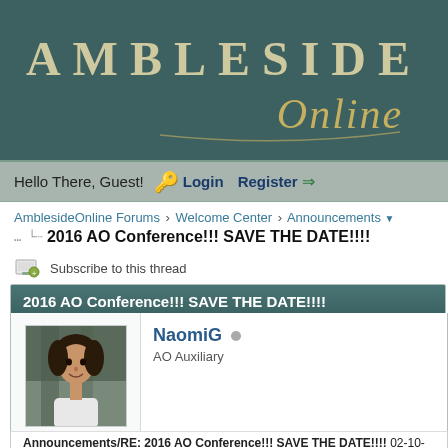[Figure (screenshot): AmblesideOnline website header banner with dark teal background, showing 'AMBLESIDE' in large spaced serif uppercase letters and 'Online' in italic cursive script below]
Hello There, Guest!  Login  Register
AmblesideOnline Forums › Welcome Center › Announcements
2016 AO Conference!!! SAVE THE DATE!!!!
Subscribe to this thread
2016 AO Conference!!! SAVE THE DATE!!!!
NaomiG
AO Auxiliary
Announcements/RE: 2016 AO Conference!!! SAVE THE DATE!!!!  02-10-2016, 04:21